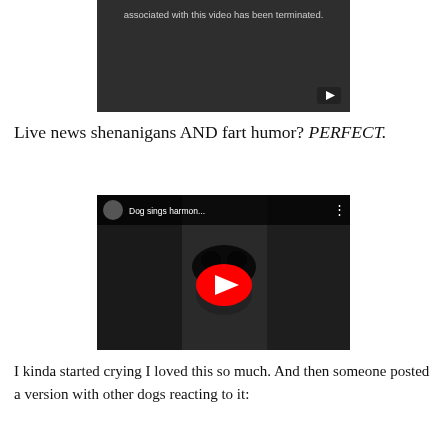[Figure (screenshot): YouTube video player showing an error: 'associated with this video has been terminated.' with a small YouTube play icon in the bottom right corner, dark background.]
Live news shenanigans AND fart humor? PERFECT.
[Figure (screenshot): YouTube video thumbnail showing a dog's nose close-up with title 'Dog sings harmon...' and a red YouTube play button in the center.]
I kinda started crying I loved this so much. And then someone posted a version with other dogs reacting to it: